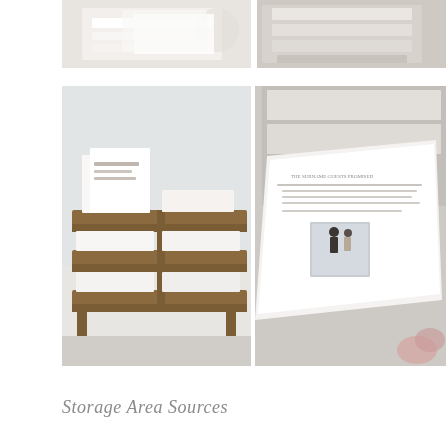[Figure (photo): Four-panel photo collage showing stationery and paper goods. Top-left: close-up of white papers/envelopes on a surface. Top-right: stacked white boxes or papers on a wooden surface. Bottom-left: wooden tiered letter tray organizer holding white envelopes and cards. Bottom-right: angled view of a printed wedding stationery card with couple photo and text.]
Storage Area Sources